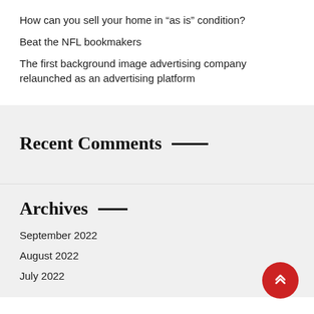How can you sell your home in “as is” condition?
Beat the NFL bookmakers
The first background image advertising company relaunched as an advertising platform
Recent Comments
Archives
September 2022
August 2022
July 2022